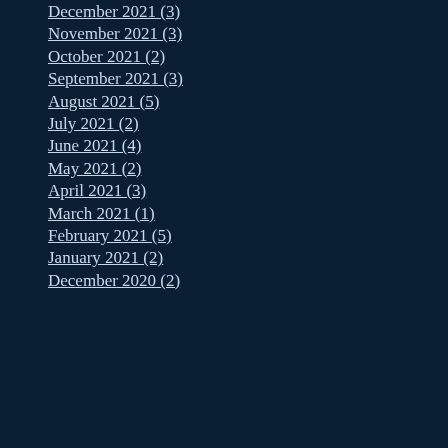December 2021 (3)
November 2021 (3)
October 2021 (2)
September 2021 (3)
August 2021 (5)
July 2021 (2)
June 2021 (4)
May 2021 (2)
April 2021 (3)
March 2021 (1)
February 2021 (5)
January 2021 (2)
December 2020 (2)